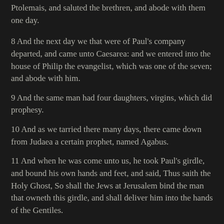Ptolemais, and saluted the brethren, and abode with them one day.
8 And the next day we that were of Paul's company departed, and came unto Caesarea: and we entered into the house of Philip the evangelist, which was one of the seven; and abode with him.
9 And the same man had four daughters, virgins, which did prophesy.
10 And as we tarried there many days, there came down from Judaea a certain prophet, named Agabus.
11 And when he was come unto us, he took Paul's girdle, and bound his own hands and feet, and said, Thus saith the Holy Ghost, So shall the Jews at Jerusalem bind the man that owneth this girdle, and shall deliver him into the hands of the Gentiles.
12 And when we heard these things, both we, and they of that place, besought him not to go up to Jerusalem.
13 Then Paul answered, What mean ye to weep and to break mine heart? for I am ready not to be bound only, but also to die at Jerusalem for the name of the Lord Jesus.
14 And when he would not be persuaded, we ceased, saying, The